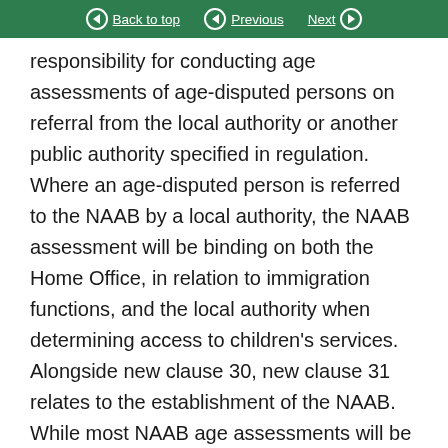Back to top | Previous | Next
responsibility for conducting age assessments of age-disputed persons on referral from the local authority or another public authority specified in regulation. Where an age-disputed person is referred to the NAAB by a local authority, the NAAB assessment will be binding on both the Home Office, in relation to immigration functions, and the local authority when determining access to children’s services. Alongside new clause 30, new clause 31 relates to the establishment of the NAAB. While most NAAB age assessments will be conducted on referral from a local authority, the new clause stipulates that the NAAB may, in certain situations, conduct age assessments on age-disputed persons for the sole purpose of deciding whether or how the Secretary of State should exercise any immigration